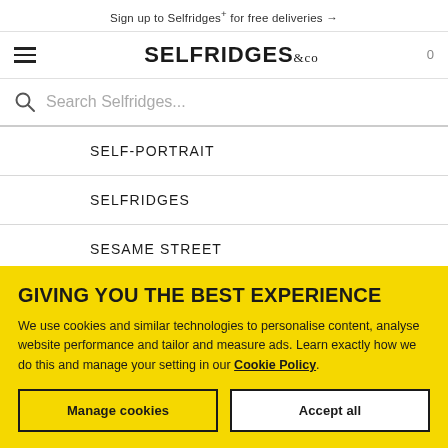Sign up to Selfridges+ for free deliveries →
[Figure (logo): Selfridges & Co logo with hamburger menu and cart icon 0]
Search Selfridges...
SELF-PORTRAIT
SELFRIDGES
SESAME STREET
SHARPIE
GIVING YOU THE BEST EXPERIENCE
We use cookies and similar technologies to personalise content, analyse website performance and tailor and measure ads. Learn exactly how we do this and manage your setting in our Cookie Policy.
Manage cookies
Accept all